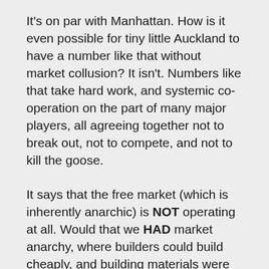It's on par with Manhattan. How is it even possible for tiny little Auckland to have a number like that without market collusion? It isn't. Numbers like that take hard work, and systemic co-operation on the part of many major players, all agreeing together not to break out, not to compete, and not to kill the goose.

It says that the free market (which is inherently anarchic) is NOT operating at all. Would that we HAD market anarchy, where builders could build cheaply, and building materials were competitively priced, and councils did not demand a sixth